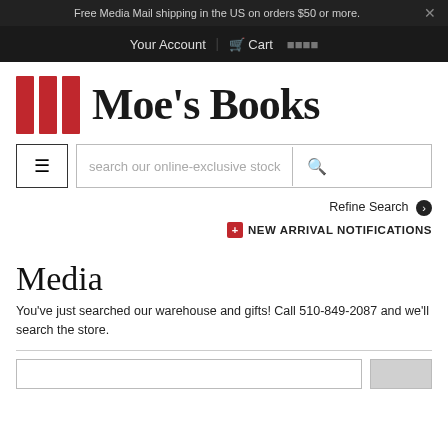Free Media Mail shipping in the US on orders $50 or more.
Your Account | Cart
[Figure (logo): Moe's Books logo: three red vertical bars followed by bold serif text 'Moe’s Books']
search our online-exclusive stock
Refine Search
NEW ARRIVAL NOTIFICATIONS
Media
You’ve just searched our warehouse and gifts! Call 510-849-2087 and we’ll search the store.